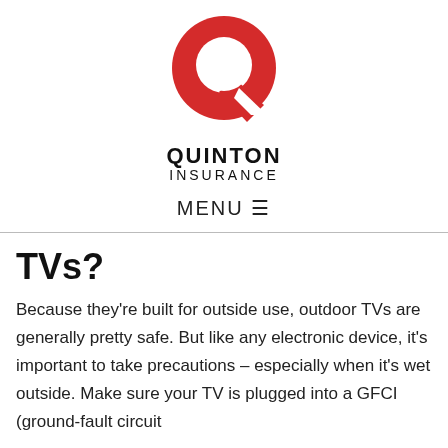[Figure (logo): Quinton Insurance logo: red circle with white Q letterform and red arrow, above bold black text QUINTON INSURANCE]
MENU ☰
TVs?
Because they're built for outside use, outdoor TVs are generally pretty safe. But like any electronic device, it's important to take precautions – especially when it's wet outside. Make sure your TV is plugged into a GFCI (ground-fault circuit